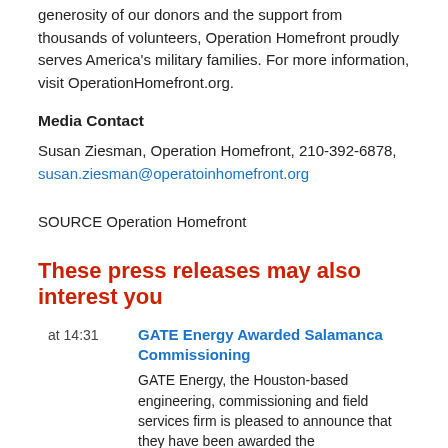generosity of our donors and the support from thousands of volunteers, Operation Homefront proudly serves America's military families. For more information, visit OperationHomefront.org.
Media Contact
Susan Ziesman, Operation Homefront, 210-392-6878, susan.ziesman@operatoinhomefront.org
SOURCE Operation Homefront
These press releases may also interest you
at 14:31
GATE Energy Awarded Salamanca Commissioning
GATE Energy, the Houston-based engineering, commissioning and field services firm is pleased to announce that they have been awarded the commissioning management and execution contract for LLOG's Salamanca development....
at 14:26
HORIZONS ETFs ANNOUNCES HND SHARE